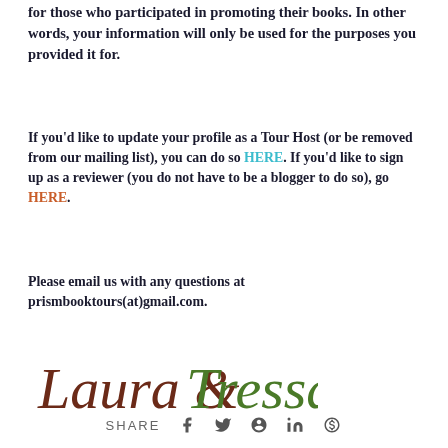for those who participated in promoting their books. In other words, your information will only be used for the purposes you provided it for.
If you'd like to update your profile as a Tour Host (or be removed from our mailing list), you can do so HERE. If you'd like to sign up as a reviewer (you do not have to be a blogger to do so), go HERE.
Please email us with any questions at prismbooktours(at)gmail.com.
[Figure (illustration): Cursive signature reading 'Laura & Tressa' in dark brown and green script]
SHARE  f  twitter  pinterest  in  G+